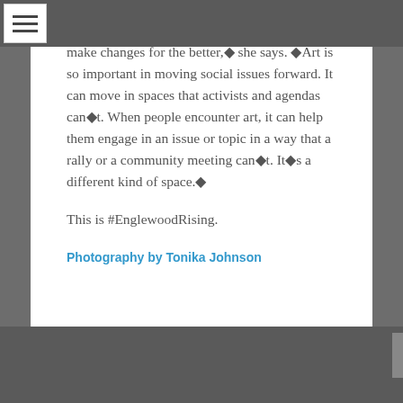make changes for the better,◆ she says. ◆Art is so important in moving social issues forward. It can move in spaces that activists and agendas can◆t. When people encounter art, it can help them engage in an issue or topic in a way that a rally or a community meeting can◆t. It◆s a different kind of space.◆
This is #EnglewoodRising.
Photography by Tonika Johnson